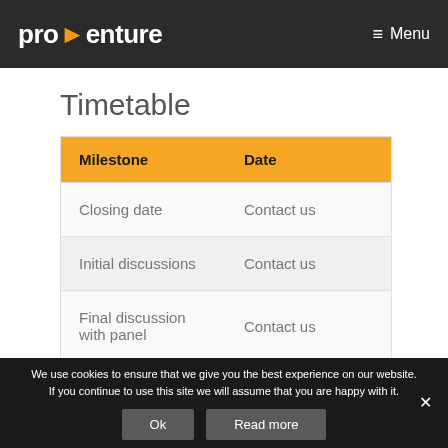pro>enture   Menu
Timetable
| Milestone | Date |
| --- | --- |
| Closing date | Contact us |
| Initial discussions | Contact us |
| Final discussion with panel | Contact us |
We use cookies to ensure that we give you the best experience on our website. If you continue to use this site we will assume that you are happy with it.